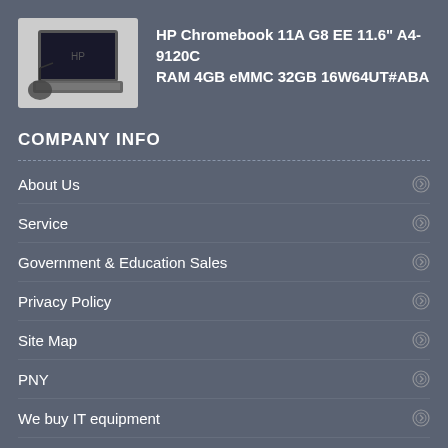[Figure (photo): HP Chromebook laptop with power adapter on a white background]
HP Chromebook 11A G8 EE 11.6" A4-9120C RAM 4GB eMMC 32GB 16W64UT#ABA
COMPANY INFO
About Us
Service
Government & Education Sales
Privacy Policy
Site Map
PNY
We buy IT equipment
GE Healthcare Products
Workstation Documentation